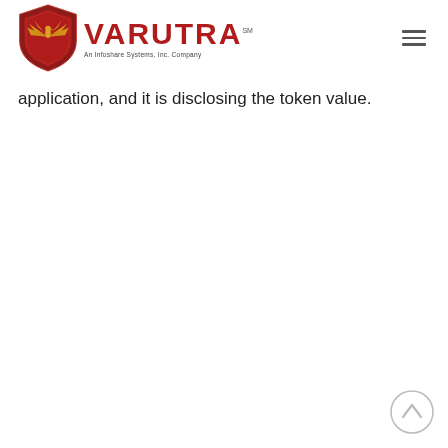VARUTRA℠ — An Infoshare Systems, Inc. Company
application, and it is disclosing the token value.